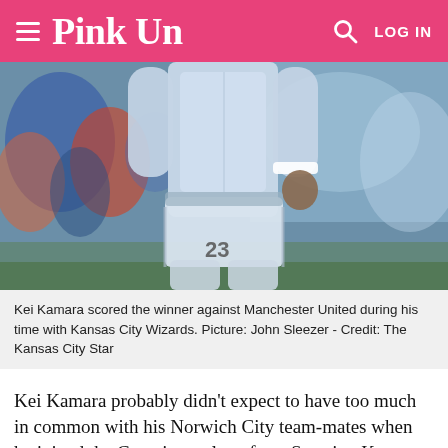Pink Un
[Figure (photo): A soccer player wearing a light blue/white jersey with number 23, viewed from the front/mid-body level, on a stadium pitch with blurred crowd in background.]
Kei Kamara scored the winner against Manchester United during his time with Kansas City Wizards. Picture: John Sleezer - Credit: The Kansas City Star
Kei Kamara probably didn't expect to have too much in common with his Norwich City team-mates when he joined the Canaries on loan from Sporting Kansas City